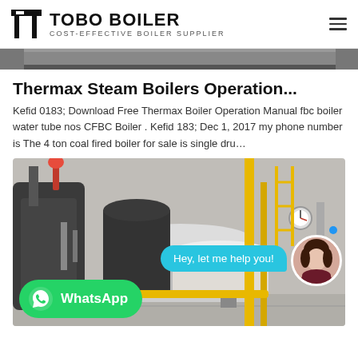TOBO BOILER — COST-EFFECTIVE BOILER SUPPLIER
[Figure (photo): Partial view of industrial boiler equipment at top of page]
Thermax Steam Boilers Operation...
Kefid 0183; Download Free Thermax Boiler Operation Manual fbc boiler water tube nos CFBC Boiler . Kefid 183; Dec 1, 2017 my phone number is The 4 ton coal fired boiler for sale is single dru…
[Figure (photo): Industrial steam boiler installation in a factory, with yellow pipes, pressure gauges, a chat bubble overlay saying 'Hey, let me help you!', an avatar of a woman, and a WhatsApp button.]